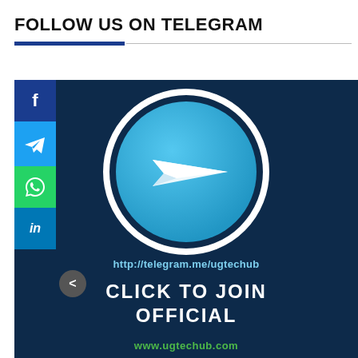FOLLOW US ON TELEGRAM
[Figure (infographic): Telegram promotional banner with Telegram logo (paper plane in blue circle with white ring), URL http://telegram.me/ugtechub, text CLICK TO JOIN OFFICIAL, and www.ugtechub.com at bottom, on dark navy background. Social media sidebar with Facebook, Twitter, WhatsApp, LinkedIn icons on left edge.]